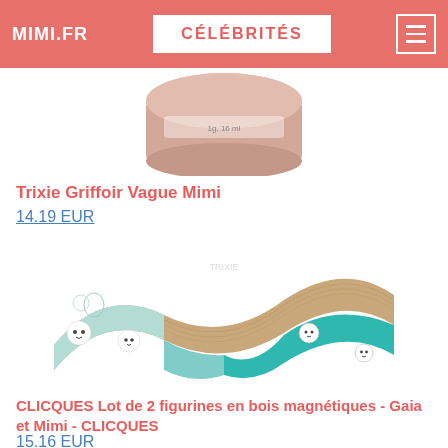MIMI.FR  CÉLÉBRITÉS
[Figure (photo): Top portion of a product image showing a round pink/beige container, partially visible at bottom of cropped image]
Trixie Griffoir Vague Mimi
14.19 EUR
[Figure (photo): Trixie wave-shaped cat scratcher in cardboard with teal/mint sides decorated with white cat face illustrations]
CLICQUES Lot de 2 figurines en bois magnétiques - Gaia et Mimi - CLICQUES
15.16 EUR